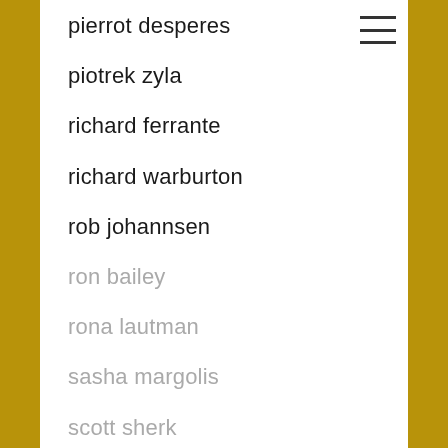pierrot desperes
piotrek zyla
richard ferrante
richard warburton
rob johannsen
ron bailey
rona lautman
sasha margolis
scott sherk
soundart radio
stephen shiell